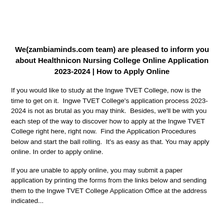We(zambiaminds.com team) are pleased to inform you about Healthnicon Nursing College Online Application 2023-2024 | How to Apply Online
If you would like to study at the Ingwe TVET College, now is the time to get on it.  Ingwe TVET College's application process 2023-2024 is not as brutal as you may think.  Besides, we'll be with you each step of the way to discover how to apply at the Ingwe TVET College right here, right now.  Find the Application Procedures below and start the ball rolling.  It's as easy as that. You may apply online. In order to apply online.
If you are unable to apply online, you may submit a paper application by printing the forms from the links below and sending them to the Ingwe TVET College Application Office at the address indicated...